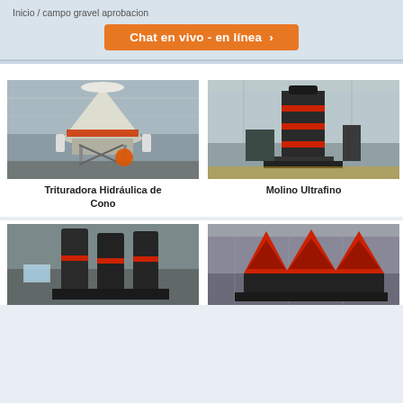Inicio / campo gravel aprobacion
Chat en vivo - en línea ›
[Figure (photo): Industrial hydraulic cone crusher machine photographed in a factory setting, white/grey colored large cone-shaped machine on metal frame]
Trituradora Hidráulica de Cono
[Figure (photo): Ultrafino mill machine in factory, dark grey/black tall vertical machine with red horizontal bands, standing on factory floor with yellow markings]
Molino Ultrafino
[Figure (photo): Industrial vertical mill machine in factory, tall dark cylindrical structure with multiple stacked components]
[Figure (photo): Large industrial cone-shaped machine in factory hall, red and black layered conical structure]